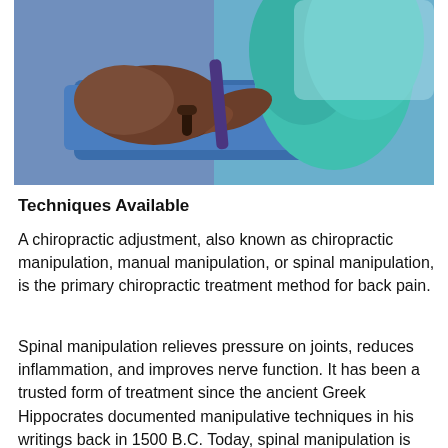[Figure (photo): A chiropractic adjustment scene showing a practitioner in a teal top performing spinal manipulation on a patient lying on a blue treatment table.]
Techniques Available
A chiropractic adjustment, also known as chiropractic manipulation, manual manipulation, or spinal manipulation, is the primary chiropractic treatment method for back pain.
Spinal manipulation relieves pressure on joints, reduces inflammation, and improves nerve function. It has been a trusted form of treatment since the ancient Greek Hippocrates documented manipulative techniques in his writings back in 1500 B.C. Today, spinal manipulation is used to treat conditions such as allergies, menstrual cramps and headaches.